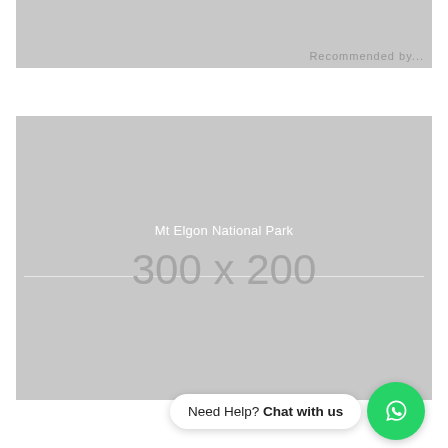[Figure (photo): Placeholder image box (top, partially cropped), light gray background with faint text visible at right edge]
[Figure (photo): Placeholder image box labeled 'Mt Elgon National Park' with dimensions 300 x 200, light gray background]
Need Help? Chat with us